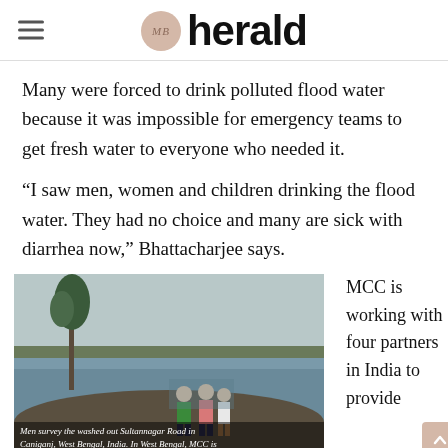MB herald
Many were forced to drink polluted flood water because it was impossible for emergency teams to get fresh water to everyone who needed it.
“I saw men, women and children drinking the flood water. They had no choice and many are sick with diarrhea now,” Bhattacharjee says.
[Figure (photo): Men survey the washed out Sultannagar Road in Caniganj, West Bengal, India. In West Bengal, MCC is...]
Men survey the washed out Sultannagar Road in Caniganj, West Bengal, India. In West Bengal, MCC is
MCC is working with four partners in India to provide